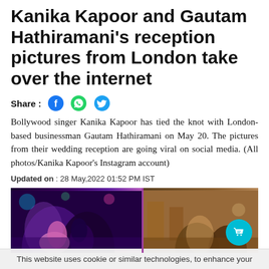Kanika Kapoor and Gautam Hathiramani's reception pictures from London take over the internet
Share : [Facebook] [WhatsApp] [Twitter]
Bollywood singer Kanika Kapoor has tied the knot with London- based businessman Gautam Hathiramani on May 20. The pictures from their wedding reception are going viral on social media. (All photos/Kanika Kapoor's Instagram account)
Updated on : 28 May,2022 01:52 PM IST
[Figure (photo): Two wedding reception photos side by side with purple background - left shows couple dancing/celebrating at party with colorful lights, right shows another reception scene with stone walls and teal cart icon overlay]
This website uses cookie or similar technologies, to enhance your